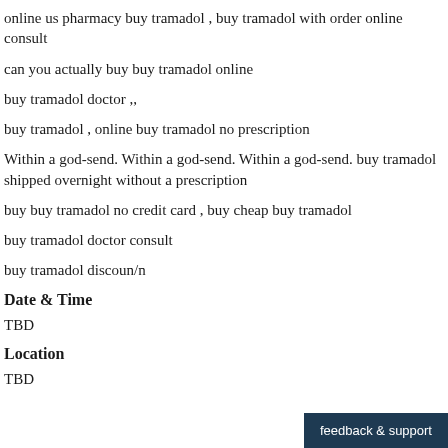online us pharmacy buy tramadol , buy tramadol with order online consult
can you actually buy buy tramadol online
buy tramadol doctor ,,
buy tramadol , online buy tramadol no prescription
Within a god-send. Within a god-send. Within a god-send. buy tramadol shipped overnight without a prescription
buy buy tramadol no credit card , buy cheap buy tramadol
buy tramadol doctor consult
buy tramadol discoun/n
Date & Time
TBD
Location
TBD